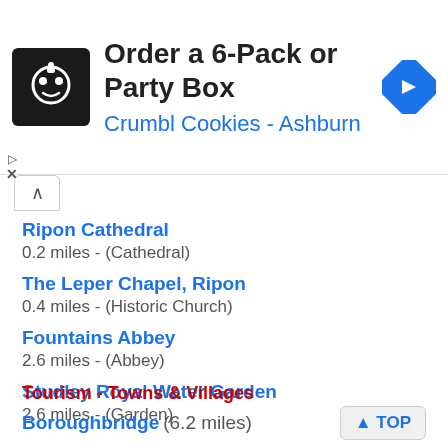[Figure (screenshot): Advertisement banner for Crumbl Cookies - Ashburn: Order a 6-Pack or Party Box, with logo and navigation arrow icon]
Ripon Cathedral
0.2 miles - (Cathedral)
The Leper Chapel, Ripon
0.4 miles - (Historic Church)
Fountains Abbey
2.6 miles - (Abbey)
Studley Royal Water Garden
2.6 miles - (Garden)
Tourism - Towns & Villages
Boroughbridge (6.2 miles)